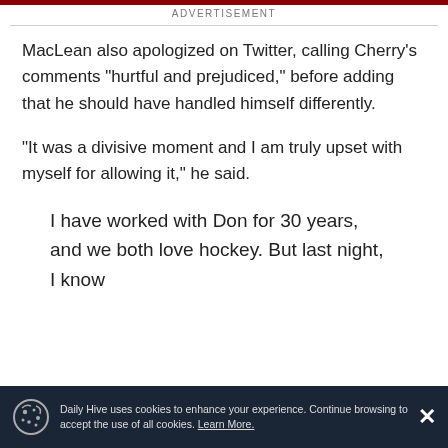ADVERTISEMENT
MacLean also apologized on Twitter, calling Cherry’s comments “hurtful and prejudiced,” before adding that he should have handled himself differently.
“It was a divisive moment and I am truly upset with myself for allowing it,” he said.
I have worked with Don for 30 years, and we both love hockey. But last night, I know
Daily Hive uses cookies to enhance your experience. Continue browsing to accept the use of all cookies. Learn More.